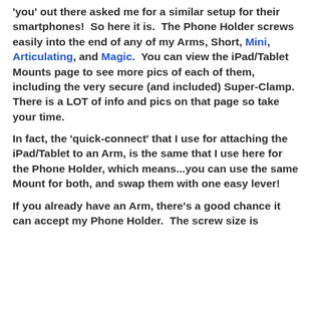'you' out there asked me for a similar setup for their smartphones!  So here it is.  The Phone Holder screws easily into the end of any of my Arms, Short, Mini, Articulating, and Magic.  You can view the iPad/Tablet Mounts page to see more pics of each of them, including the very secure (and included) Super-Clamp.  There is a LOT of info and pics on that page so take your time.
In fact, the 'quick-connect' that I use for attaching the iPad/Tablet to an Arm, is the same that I use here for the Phone Holder, which means...you can use the same Mount for both, and swap them with one easy lever!
If you already have an Arm, there's a good chance it can accept my Phone Holder.  The screw size is